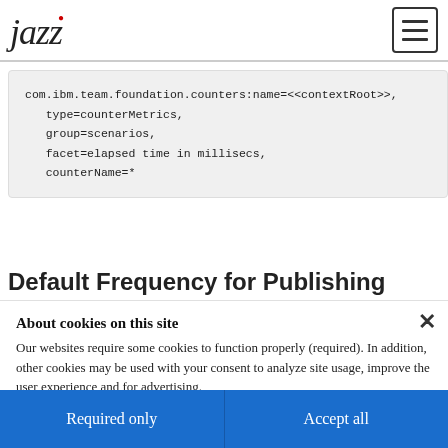Jazz [logo] | menu button
com.ibm.team.foundation.counters:name=<<contextRoot>>,
   type=counterMetrics,
   group=scenarios,
   facet=elapsed time in millisecs,
   counterName=*
Default Frequency for Publishing
About cookies on this site
Our websites require some cookies to function properly (required). In addition, other cookies may be used with your consent to analyze site usage, improve the user experience and for advertising.

For more information, please review your Cookie preferences options and IBM's privacy statement.
Required only
Accept all